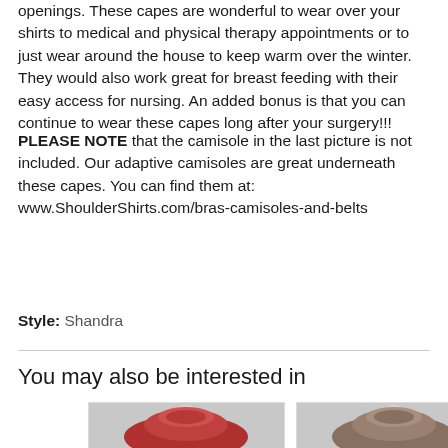openings. These capes are wonderful to wear over your shirts to medical and physical therapy appointments or to just wear around the house to keep warm over the winter. They would also work great for breast feeding with their easy access for nursing. An added bonus is that you can continue to wear these capes long after your surgery!!!
PLEASE NOTE that the camisole in the last picture is not included. Our adaptive camisoles are great underneath these capes. You can find them at: www.ShoulderShirts.com/bras-camisoles-and-belts
Style: Shandra
You may also be interested in
[Figure (photo): Red cowl-neck cape draped on a mannequin, photographed against a light grey background]
[Figure (photo): Tan/olive cowl-neck cape draped on a mannequin, photographed against a light grey background]